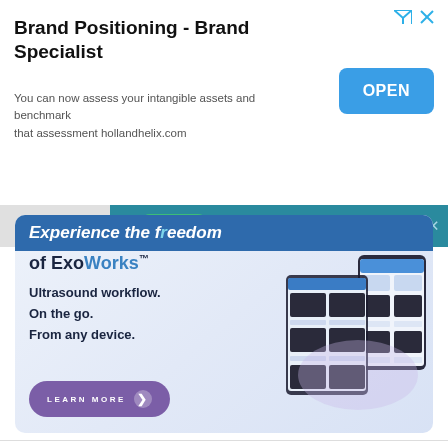Brand Positioning - Brand Specialist
You can now assess your intangible assets and benchmark that assessment hollandhelix.com
OPEN
Accept
Privacy policy
Experience the freedom of ExoWorks™
Ultrasound workflow. On the go. From any device.
LEARN MORE
[Figure (screenshot): ExoWorks app interface showing ultrasound workflow on mobile devices with ultrasound images grid]